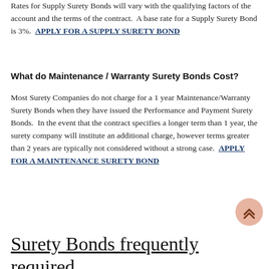Rates for Supply Surety Bonds will vary with the qualifying factors of the account and the terms of the contract. A base rate for a Supply Surety Bond is 3%. APPLY FOR A SUPPLY SURETY BOND
What do Maintenance / Warranty Surety Bonds Cost?
Most Surety Companies do not charge for a 1 year Maintenance/Warranty Surety Bonds when they have issued the Performance and Payment Surety Bonds. In the event that the contract specifies a longer term than 1 year, the surety company will institute an additional charge, however terms greater than 2 years are typically not considered without a strong case. APPLY FOR A MAINTENANCE SURETY BOND
Surety Bonds frequently required